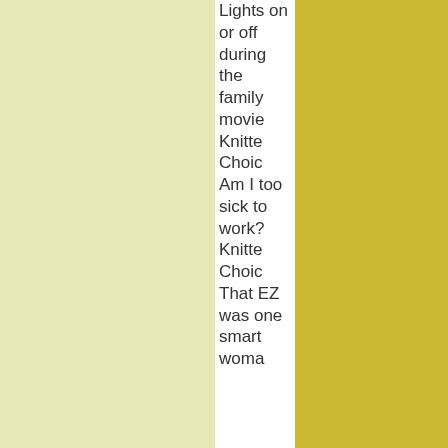Lights on or off during the family movie Knitter Choice Am I too sick to work? Knitter Choice That EZ was one smart woma